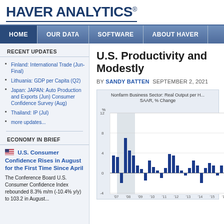[Figure (logo): Haver Analytics logo with registered trademark symbol]
HOME | OUR DATA | SOFTWARE | ABOUT HAVER
RECENT UPDATES
Finland: International Trade (Jun-Final)
Lithuania: GDP per Capita (Q2)
Japan: JAPAN: Auto Production and Exports (Jun) Consumer Confidence Survey (Aug)
Thailand: IP (Jul)
more updates...
ECONOMY IN BRIEF
U.S. Consumer Confidence Rises in August for the First Time Since April
The Conference Board U.S. Consumer Confidence Index rebounded 8.3% m/m (-10.4% y/y) to 103.2 in August...
U.S. Productivity and... Modestly
BY SANDY BATTEN  SEPTEMBER 2, 2021
[Figure (bar-chart): Bar chart showing Nonfarm Business Sector Real Output per Hour SAAR % Change over time. Bars vary from negative to positive, with a shaded recession band. Y-axis shows values from about -4 to 12.]